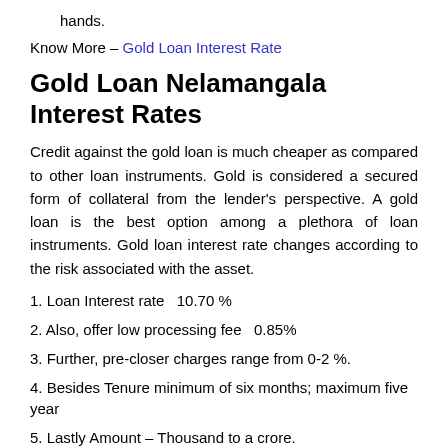hands.
Know More – Gold Loan Interest Rate
Gold Loan Nelamangala Interest Rates
Credit against the gold loan is much cheaper as compared to other loan instruments. Gold is considered a secured form of collateral from the lender's perspective. A gold loan is the best option among a plethora of loan instruments. Gold loan interest rate changes according to the risk associated with the asset.
1. Loan Interest rate  10.70 %
2. Also, offer low processing fee  0.85%
3. Further, pre-closer charges range from 0-2 %.
4. Besides Tenure minimum of six months; maximum five year
5. Lastly Amount – Thousand to a crore.